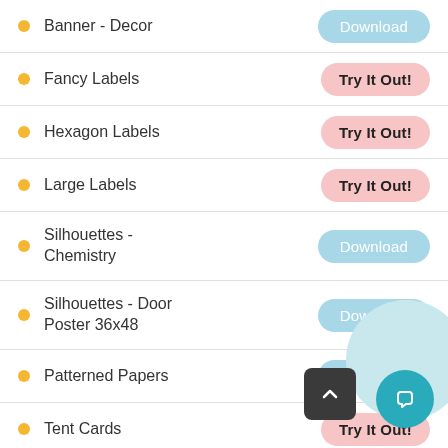Banner - Decor — Download
Fancy Labels — Try It Out!
Hexagon Labels — Try It Out!
Large Labels — Try It Out!
Silhouettes - Chemistry — Download
Silhouettes - Door Poster 36x48 — Download
Patterned Papers — Download
Tent Cards — Try It Out!